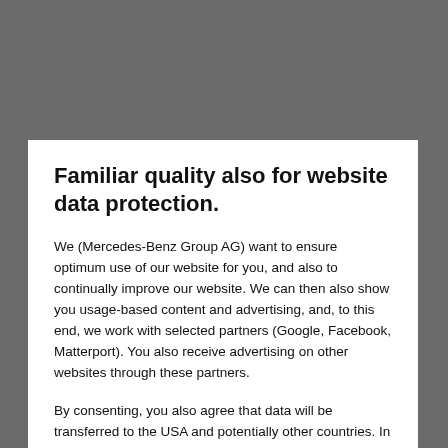Familiar quality also for website data protection.
We (Mercedes-Benz Group AG) want to ensure optimum use of our website for you, and also to continually improve our website. We can then also show you usage-based content and advertising, and, to this end, we work with selected partners (Google, Facebook, Matterport). You also receive advertising on other websites through these partners.
By consenting, you also agree that data will be transferred to the USA and potentially other countries. In such countries, authorities may have easier access to such data and you may have fewer rights to oppose such access, as compared to the European Union.